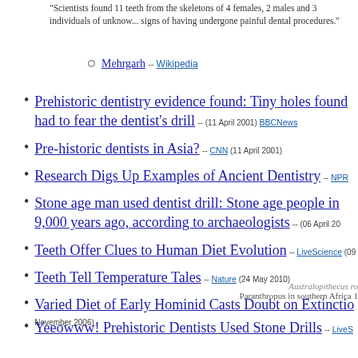"Scientists found 11 teeth from the skeletons of 4 females, 2 males and 3 individuals of unknown sex, signs of having undergone painful dental procedures."
Mehrgarh -- Wikipedia
Prehistoric dentistry evidence found: Tiny holes found had to fear the dentist's drill -- (11 April 2001) BBCNews
Pre-historic dentists in Asia? -- CNN (11 April 2001)
Research Digs Up Examples of Ancient Dentistry -- NPR
Stone age man used dentist drill: Stone age people in 9,000 years ago, according to archaeologists -- (06 April 20...)
Teeth Offer Clues to Human Diet Evolution -- LiveScience (09...)
Teeth Tell Temperature Tales -- Nature (24 May 2010)
Varied Diet of Early Hominid Casts Doubt on Extinction... November 2006)
Australopithecus ro... Paranthropus in southern Africa 1
Yeeowww! Prehistoric Dentists Used Stone Drills -- LiveS...